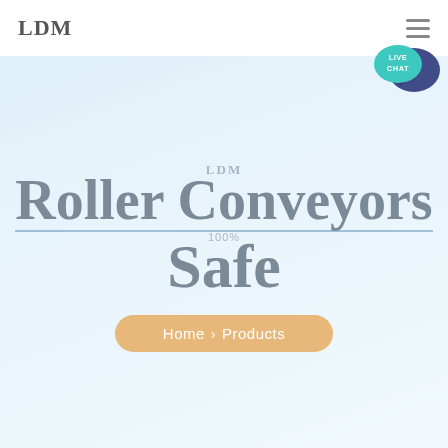LDM
[Figure (illustration): Live Chat speech bubble icon with teal/dark blue colors and text LIVE CHAT]
LDM Roller Conveyors Safe
100%
Home > Products